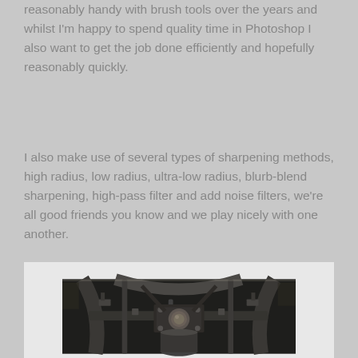reasonably handy with brush tools over the years and whilst I'm happy to spend quality time in Photoshop I also want to get the job done efficiently and hopefully reasonably quickly.
I also make use of several types of sharpening methods, high radius, low radius, ultra-low radius, blurb-blend sharpening, high-pass filter and add noise filters, we're all good friends you know and we play nicely with one another.
[Figure (photo): Close-up photograph of industrial/mechanical machinery, dark metal components including gears, bolts, rods and a cylindrical element, appearing to be an old printing press or similar heavy machinery.]